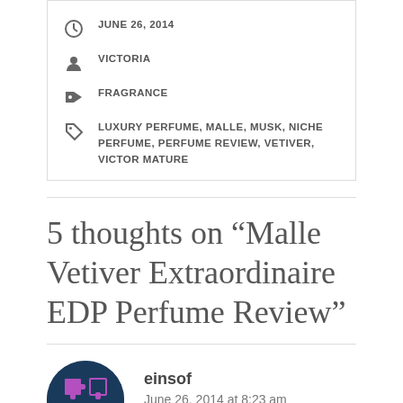JUNE 26, 2014
VICTORIA
FRAGRANCE
LUXURY PERFUME, MALLE, MUSK, NICHE PERFUME, PERFUME REVIEW, VETIVER, VICTOR MATURE
5 thoughts on “Malle Vetiver Extraordinaire EDP Perfume Review”
einsof
June 26, 2014 at 8:23 am